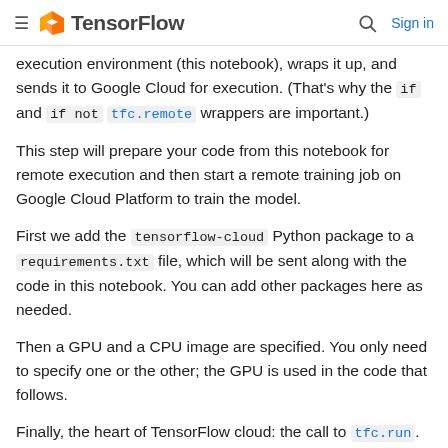TensorFlow  Sign in
execution environment (this notebook), wraps it up, and sends it to Google Cloud for execution. (That's why the if and if not tfc.remote wrappers are important.)
This step will prepare your code from this notebook for remote execution and then start a remote training job on Google Cloud Platform to train the model.
First we add the tensorflow-cloud Python package to a requirements.txt file, which will be sent along with the code in this notebook. You can add other packages here as needed.
Then a GPU and a CPU image are specified. You only need to specify one or the other; the GPU is used in the code that follows.
Finally, the heart of TensorFlow cloud: the call to tfc.run. When this is executed inside this notebook, all